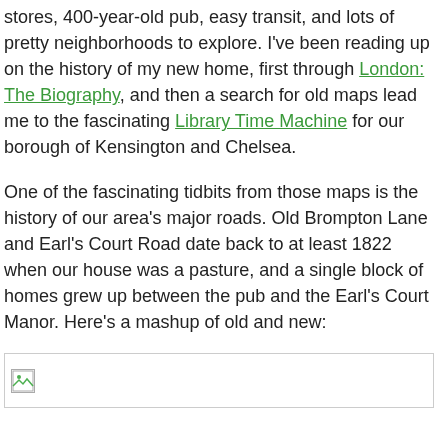stores, 400-year-old pub, easy transit, and lots of pretty neighborhoods to explore. I've been reading up on the history of my new home, first through London: The Biography, and then a search for old maps lead me to the fascinating Library Time Machine for our borough of Kensington and Chelsea.
One of the fascinating tidbits from those maps is the history of our area's major roads. Old Brompton Lane and Earl's Court Road date back to at least 1822 when our house was a pasture, and a single block of homes grew up between the pub and the Earl's Court Manor. Here's a mashup of old and new:
[Figure (photo): Broken/loading image placeholder — a small image icon with a border, representing a map mashup image that failed to load.]